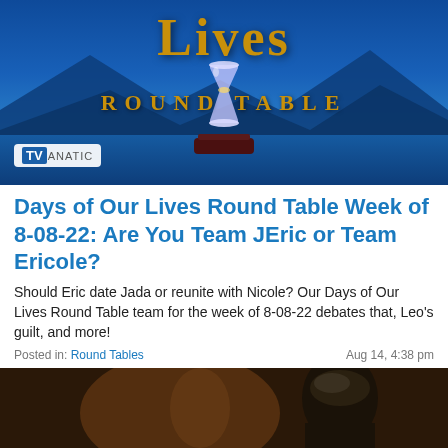[Figure (screenshot): Days of Our Lives Round Table hero image with TVFanatic badge, blue ocean/mountain background, golden 'Lives' and 'ROUND TABLE' text with hourglass]
Days of Our Lives Round Table Week of 8-08-22: Are You Team JEric or Team Ericole?
Should Eric date Jada or reunite with Nicole? Our Days of Our Lives Round Table team for the week of 8-08-22 debates that, Leo's guilt, and more!
Posted in: Round Tables
Aug 14, 4:38 pm
[Figure (screenshot): Blurry TV screenshot showing a dark-haired person in dimly lit scene]
[Figure (screenshot): Advertisement banner: The Black Phone movie with Peacock logo and STREAM NOW button]